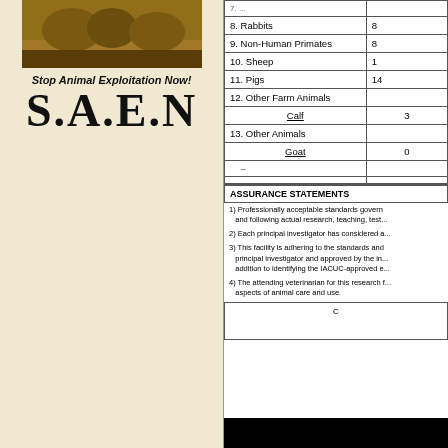[Figure (photo): Photo of animals at top of left column with brown/sepia tones]
Stop Animal Exploitation Now!
S.A.E.N
| Species | Value |
| --- | --- |
| 8. Rabbits | 8 |
| 9. Non-Human Primates | 8 |
| 10. Sheep | 1 |
| 11. Pigs | 14 |
| 12. Other Farm Animals |  |
| Calf | 3 |
| 13. Other Animals |  |
| Goat | 0 |
|  |  |
|  |  |
ASSURANCE STATEMENTS
1) Professionally acceptable standards governing the care and following actual research, teaching, test...
2) Each principal investigator has considered a...
3) This facility is adhering to the standards and principal investigator and approved by the in... addition to identifying the IACUC-approved e...
4) The attending veterinarian for this research f... aspects of animal care and use.
C